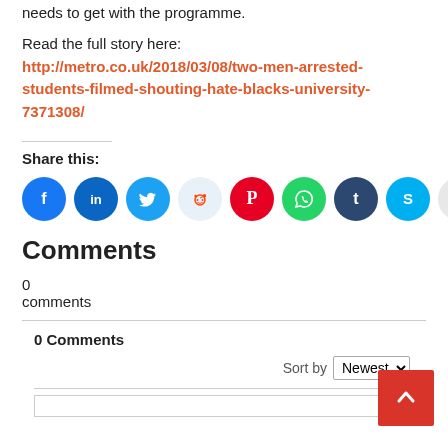needs to get with the programme.
Read the full story here: http://metro.co.uk/2018/03/08/two-men-arrested-students-filmed-shouting-hate-blacks-university-7371308/
Share this:
[Figure (other): Row of social media share icons: Facebook, LinkedIn, Twitter, Reddit, Pinterest, WhatsApp, Tumblr, Skype, Print]
Comments
0
comments
0 Comments
Sort by Newest